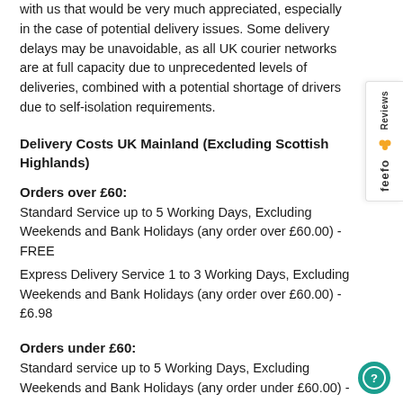with us that would be very much appreciated, especially in the case of potential delivery issues. Some delivery delays may be unavoidable, as all UK courier networks are at full capacity due to unprecedented levels of deliveries, combined with a potential shortage of drivers due to self-isolation requirements.
Delivery Costs UK Mainland (Excluding Scottish Highlands)
Orders over £60:
Standard Service up to 5 Working Days, Excluding Weekends and Bank Holidays (any order over £60.00) - FREE
Express Delivery Service 1 to 3 Working Days, Excluding Weekends and Bank Holidays (any order over £60.00) - £6.98
Orders under £60:
Standard service up to 5 Working Days, Excluding Weekends and Bank Holidays (any order under £60.00) - £6.98